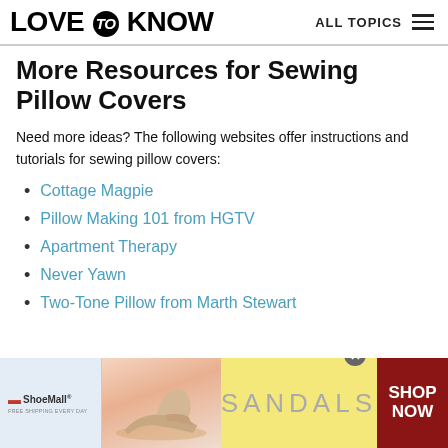LOVE to KNOW   ALL TOPICS
More Resources for Sewing Pillow Covers
Need more ideas? The following websites offer instructions and tutorials for sewing pillow covers:
Cottage Magpie
Pillow Making 101 from HGTV
Apartment Therapy
Never Yawn
Two-Tone Pillow from Marth Stewart
[Figure (other): ShoeMall advertisement banner showing sandals with text SANDALS and SHOP NOW button]